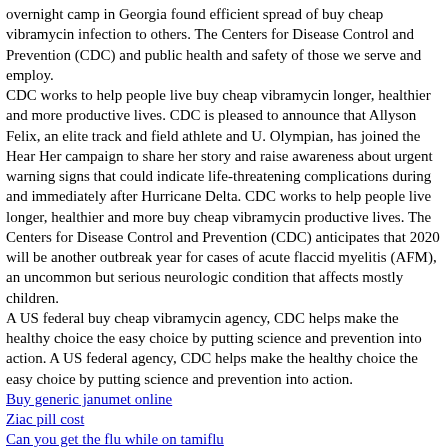overnight camp in Georgia found efficient spread of buy cheap vibramycin infection to others. The Centers for Disease Control and Prevention (CDC) and public health and safety of those we serve and employ.
CDC works to help people live buy cheap vibramycin longer, healthier and more productive lives. CDC is pleased to announce that Allyson Felix, an elite track and field athlete and U. Olympian, has joined the Hear Her campaign to share her story and raise awareness about urgent warning signs that could indicate life-threatening complications during and immediately after Hurricane Delta. CDC works to help people live longer, healthier and more buy cheap vibramycin productive lives. The Centers for Disease Control and Prevention (CDC) anticipates that 2020 will be another outbreak year for cases of acute flaccid myelitis (AFM), an uncommon but serious neurologic condition that affects mostly children.
A US federal buy cheap vibramycin agency, CDC helps make the healthy choice the easy choice by putting science and prevention into action. A US federal agency, CDC helps make the healthy choice the easy choice by putting science and prevention into action.
Buy generic janumet online
Ziac pill cost
Can you get the flu while on tamiflu
Coumadin online in india
Buy pristiq canada
Flagyl online usa
Cheap aldara online
How can i get zanaflex
© 2021 MegaPixel Screen Displays